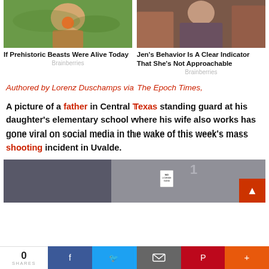[Figure (photo): Left thumbnail: man holding large insect (dragonfly) outdoors with green foliage background]
If Prehistoric Beasts Were Alive Today
Brainberries
[Figure (photo): Right thumbnail: woman with long hair sitting, brown/gray background]
Jen's Behavior Is A Clear Indicator That She's Not Approachable
Brainberries
Authored by Lorenz Duschamps via The Epoch Times,
A picture of a father in Central Texas standing guard at his daughter's elementary school where his wife also works has gone viral on social media in the wake of this week's mass shooting incident in Uvalde.
[Figure (photo): Partial photo of exterior of building/school, with a No Trespassing sign visible]
0 SHARES | Facebook | Twitter | Email | Pinterest | More